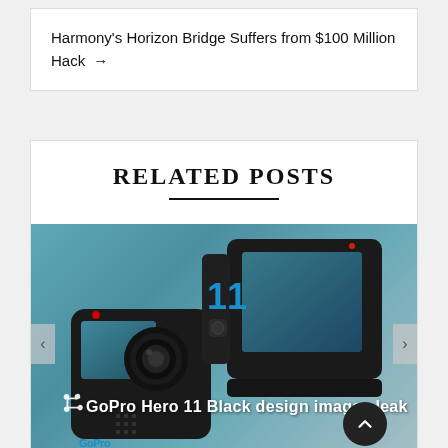Harmony's Horizon Bridge Suffers from $100 Million Hack →
Related Posts
[Figure (photo): GoPro Hero 11 Black action cameras shown from front and side angles on a teal/blue gradient background]
GoPro Hero 11 Black design images leak